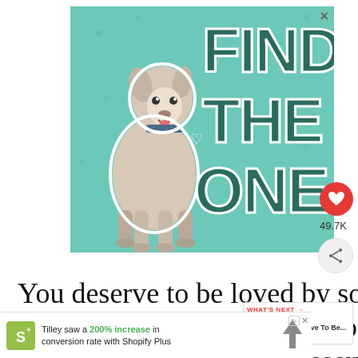[Figure (illustration): Advertisement banner with teal/mint green background showing a Great Dane dog on the left and large bold dark teal text reading FIND THE ONE with small heart icons scattered in background]
49.7K
You deserve to be loved by someone who gets worried when he does from you the whole day. You deserve
[Figure (infographic): What's Next widget showing a thumbnail portrait and text: WHAT'S NEXT → You Deserve To Be...]
[Figure (infographic): Bottom advertisement: Tilley saw a 200% increase in conversion rate with Shopify Plus, with Shopify logo and arrow graphic]